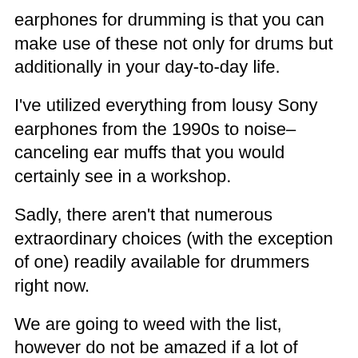earphones for drumming is that you can make use of these not only for drums but additionally in your day-to-day life.
I've utilized everything from lousy Sony earphones from the 1990s to noise– canceling ear muffs that you would certainly see in a workshop.
Sadly, there aren't that numerous extraordinary choices (with the exception of one) readily available for drummers right now.
We are going to weed with the list, however do not be amazed if a lot of these reviews are unfavorable.
Myself? I make use of both isolation earphones and in-ear screens. Both have applications whether it remains in the workshop or playing online.
That being said, allow's enter into the listing of best